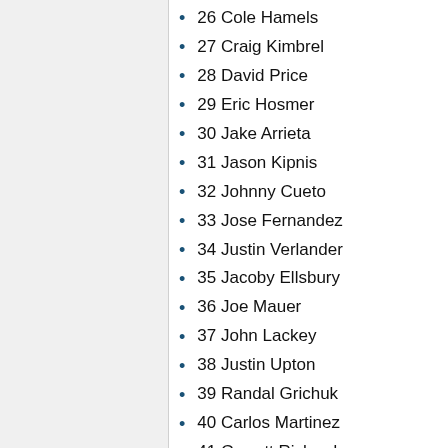26 Cole Hamels
27 Craig Kimbrel
28 David Price
29 Eric Hosmer
30 Jake Arrieta
31 Jason Kipnis
32 Johnny Cueto
33 Jose Fernandez
34 Justin Verlander
35 Jacoby Ellsbury
36 Joe Mauer
37 John Lackey
38 Justin Upton
39 Randal Grichuk
40 Carlos Martinez
41 Garrett Richards
42 Gio Gonzalez
43 Henry Owens RC